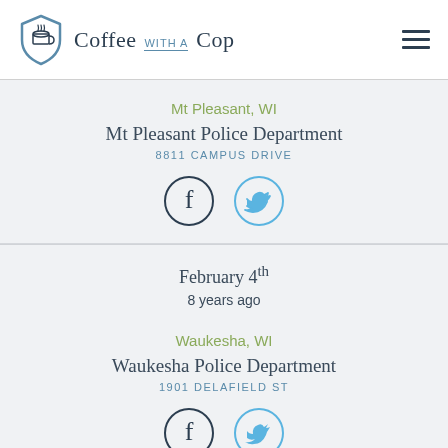Coffee with a Cop
Mt Pleasant, WI
Mt Pleasant Police Department
8811 CAMPUS DRIVE
[Figure (other): Facebook and Twitter social media icon buttons]
February 4th
8 years ago
Waukesha, WI
Waukesha Police Department
1901 DELAFIELD ST
[Figure (other): Facebook and Twitter social media icon buttons]